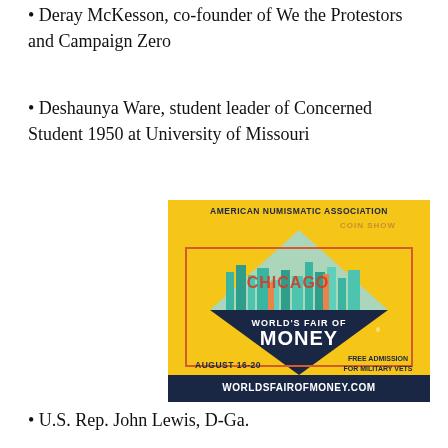Deray McKesson, co-founder of We the Protestors and Campaign Zero
Deshaunya Ware, student leader of Concerned Student 1950 at University of Missouri
[Figure (illustration): American Numismatic Association Coin Show advertisement. Yellow background with dark blue bottom band. Diamond/rhombus shape in center containing Chicago skyline illustration. Text: AMERICAN NUMISMATIC ASSOCIATION, COIN SHOW, CHICAGO, WORLD'S FAIR OF MONEY, AUGUST 16-20, FREE ADMISSION FOR MILITARY VETS, WORLDSFAIROFMONEY.COM]
U.S. Rep. John Lewis, D-Ga.